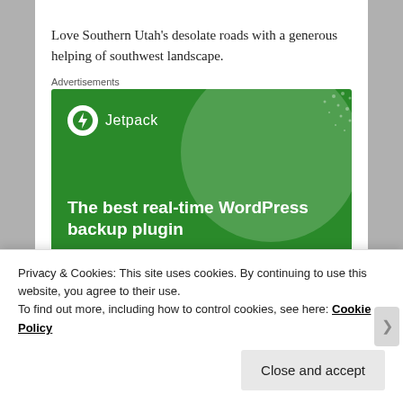Love Southern Utah's desolate roads with a generous helping of southwest landscape.
Advertisements
[Figure (screenshot): Jetpack advertisement banner on green background: logo with lightning bolt circle icon and 'Jetpack' text, headline 'The best real-time WordPress backup plugin']
Privacy & Cookies: This site uses cookies. By continuing to use this website, you agree to their use.
To find out more, including how to control cookies, see here: Cookie Policy